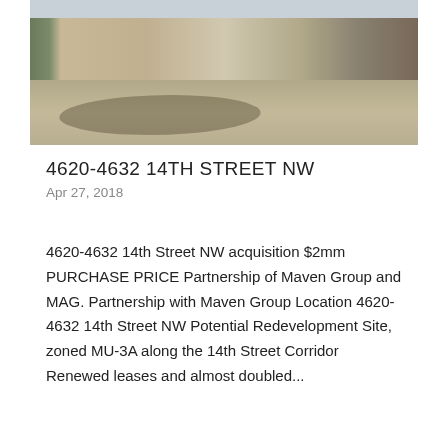[Figure (photo): Street-level photograph of 4620-4632 14th Street NW showing a sidewalk with trees, storefronts, and pedestrians on a sunny day]
4620-4632 14TH STREET NW
Apr 27, 2018
4620-4632 14th Street NW acquisition $2mm PURCHASE PRICE Partnership of Maven Group and MAG. Partnership with Maven Group Location 4620-4632 14th Street NW Potential Redevelopment Site, zoned MU-3A along the 14th Street Corridor Renewed leases and almost doubled...